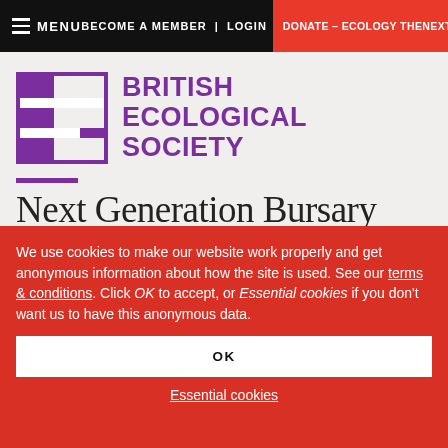≡ MENU   BECOME A MEMBER | LOGIN   DONATE – ECOLOGY THE NEXT GENERATION
[Figure (logo): British Ecological Society logo — purple stylized letter E with white cutouts, followed by text BRITISH ECOLOGICAL SOCIETY in purple bold uppercase]
Next Generation Bursary Sch…
We use cookies to make our website work properly and get anonymous information about how the site is used. See our terms & conditions. Click OK to accept, or Essential cookies if you don't want us to have this anonymous data.